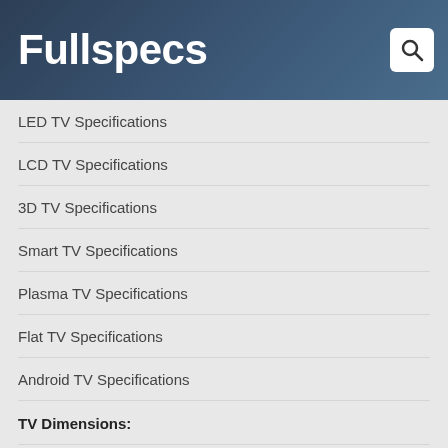Fullspecs
LED TV Specifications
LCD TV Specifications
3D TV Specifications
Smart TV Specifications
Plasma TV Specifications
Flat TV Specifications
Android TV Specifications
TV Dimensions:
70 Inch TV Dimensions
65 Inch TV Dimensions
60 Inch TV Dimensions
40 Inch TV Dimensions
32 Inch TV Dimensions
85 Inch TV Dimensions